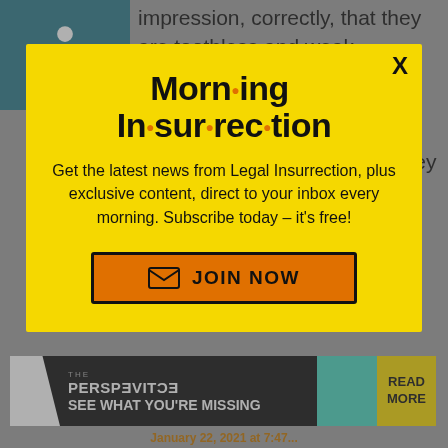impression, correctly, that they are toothless and weak.
This is a disaster for them. They are voluntarily hitting the tar baby. Stupid
[Figure (screenshot): Modal popup with yellow background. Title reads 'Morning Insurrection' with orange dot separators. Body text: 'Get the latest news from Legal Insurrection, plus exclusive content, direct to your inbox every morning. Subscribe today – it’s free!' Orange JOIN NOW button at bottom. X close button top-right.]
icon of their a er.
Back to top
[Figure (screenshot): Ad banner: THE PERSPECTIVE - SEE WHAT YOU'RE MISSING with READ MORE button on yellow background]